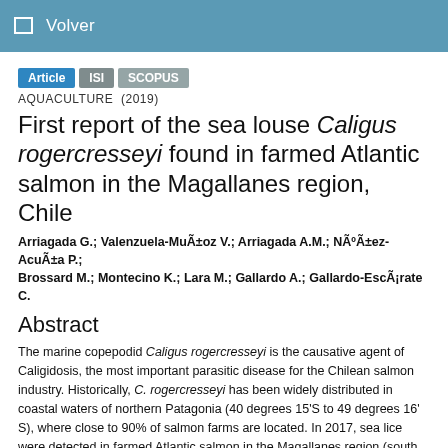Volver
Article  ISI  SCOPUS
AQUACULTURE  (2019)
First report of the sea louse Caligus rogercresseyi found in farmed Atlantic salmon in the Magallanes region, Chile
Arriagada G.; Valenzuela-Muñoz V.; Arriagada A.M.; Núñez-Acuña P.; Brossard M.; Montecino K.; Lara M.; Gallardo A.; Gallardo-Escárate C.
Abstract
The marine copepodid Caligus rogercresseyi is the causative agent of Caligidosis, the most important parasitic disease for the Chilean salmon industry. Historically, C. rogercresseyi has been widely distributed in coastal waters of northern Patagonia (40 degrees 15'S to 49 degrees 16' S), where close to 90% of salmon farms are located. In 2017, sea lice were detected in farmed Atlantic salmon in the Magallanes region (south of 49 degrees 16' S), affecting salmon farms for the first time. This study aimed to identify the sea louse C. rogercresseyi infecting Atlantic salmon, and also to report measures and activities conducted by the Chilean